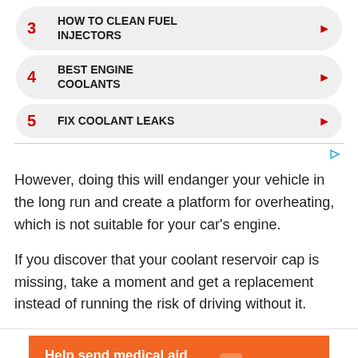3 HOW TO CLEAN FUEL INJECTORS
4 BEST ENGINE COOLANTS
5 FIX COOLANT LEAKS
However, doing this will endanger your vehicle in the long run and create a platform for overheating, which is not suitable for your car's engine.
If you discover that your coolant reservoir cap is missing, take a moment and get a replacement instead of running the risk of driving without it.
[Figure (infographic): Orange advertisement banner: 'Help send medical aid to Ukraine >>' with DirectRelief logo]